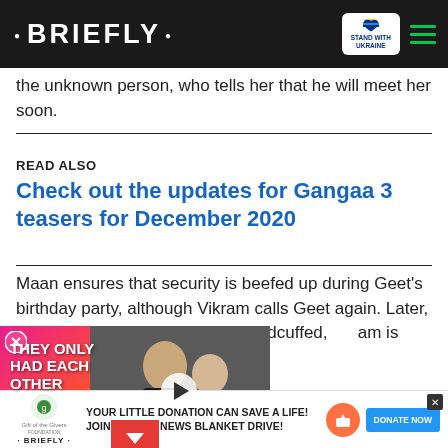• BRIEFLY •  [Stand with Ukraine]
the unknown person, who tells her that he will meet her soon.
READ ALSO
Check out the updates for Gangaa 3 teasers for December 2020
Maan ensures that security is beefed up during Geet's birthday party, although Vikram calls Geet again. Later, Maan ... members has been handcuffed, ... am is behind it. Will Maan ... Vikram?
[Figure (screenshot): Video card overlay with text 'THEY ONLY HAD EACH OTHER' and photo of a couple, with play button]
[Figure (screenshot): Ad banner: YOUR LITTLE DONATION CAN SAVE A LIFE! JOIN BRIEFLY NEWS BLANKET DRIVE! with DONATE NOW button]